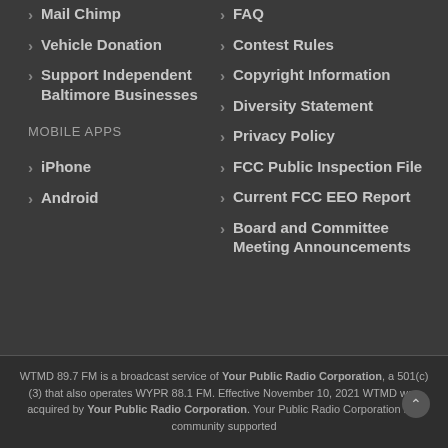Mail Chimp
Vehicle Donation
Support Independent Baltimore Businesses
MOBILE APPS
iPhone
Android
FAQ
Contest Rules
Copyright Information
Diversity Statement
Privacy Policy
FCC Public Inspection File
Current FCC EEO Report
Board and Committee Meeting Announcements
WTMD 89.7 FM is a broadcast service of Your Public Radio Corporation, a 501(c)(3) that also operates WYPR 88.1 FM. Effective November 10, 2021 WTMD was acquired by Your Public Radio Corporation. Your Public Radio Corporation is a community supported